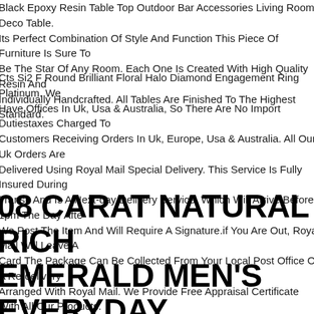Black Epoxy Resin Table Top Outdoor Bar Accessories Living Room Deco Table. Its Perfect Combination Of Style And Function This Piece Of Furniture Is Sure To Be The Star Of Any Room. Each One Is Created With High Quality Resin And Individually Handcrafted. All Tables Are Finished To The Highest Standard.
Cts Si2 F Round Brilliant Floral Halo Diamond Engagement Ring Platinum. We Have Offices In Uk, Usa & Australia, So There Are No Import Dutiestaxes Charged To Customers Receiving Orders In Uk, Europe, Usa & Australia. All Our Uk Orders Are Delivered Using Royal Mail Special Delivery. This Service Is Fully Insured During Transit And Is A Next-day Delivery Service, Which Will Arrive Before 1pm The Day After We Post The Item And Will Require A Signature.if You Are Out, Royal Mail Will Leave A Card The Package Can Be Collected From Your Local Post Office Or A Re-delivery Arranged With Royal Mail. We Provide Free Appraisal Certificate With All Our Products. Appraisal Reports Are Very Useful As A Means Of Proving The Authenticity Of A Piece Of Jewellery, In Conjunction With A Certificate. Our Appraisal Reports And Certificates Provide You With Complete Peace O.
08 CARAT NATURAL RICH EMERALD MEN'S EVERYDAY STATEMENT RUING YELLOW GOLD K